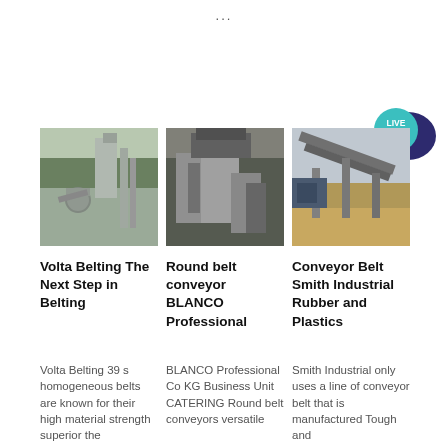...
[Figure (photo): Industrial conveyor belt facility with pipes and silos, green hills in background]
[Figure (photo): Close-up of heavy industrial conveyor machinery, concrete structure]
[Figure (photo): Outdoor mining/quarry conveyor belt system, overcast sky]
[Figure (logo): Live Chat bubble icon with teal and dark blue colors]
Volta Belting The Next Step in Belting
Round belt conveyor BLANCO Professional
Conveyor Belt Smith Industrial Rubber and Plastics
Volta Belting 39 s homogeneous belts are known for their high material strength superior the
BLANCO Professional Co KG Business Unit CATERING Round belt conveyors versatile
Smith Industrial only uses a line of conveyor belt that is manufactured Tough and